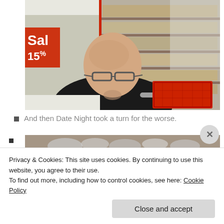[Figure (photo): A bald man wearing glasses and a black shirt stands in a retail store aisle (Target), pushing a red shopping cart. Store shelves with products are visible in the background along with a 'Sale 15%' sign.]
And then Date Night took a turn for the worse.
[Figure (photo): Partial view of a second image showing what appears to be metallic objects, partially obscured by cookie banner.]
Privacy & Cookies: This site uses cookies. By continuing to use this website, you agree to their use.
To find out more, including how to control cookies, see here: Cookie Policy
Close and accept